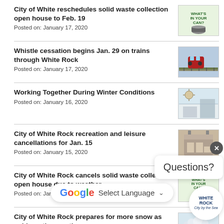City of White reschedules solid waste collection open house to Feb. 19
Posted on: January 17, 2020
Whistle cessation begins Jan. 29 on trains through White Rock
Posted on: January 17, 2020
Working Together During Winter Conditions
Posted on: January 16, 2020
City of White Rock recreation and leisure cancellations for Jan. 15
Posted on: January 15, 2020
City of White Rock cancels solid waste collection open house due to weather
Posted on: January 15, 2020
City of White Rock prepares for more snow as cold weather continues